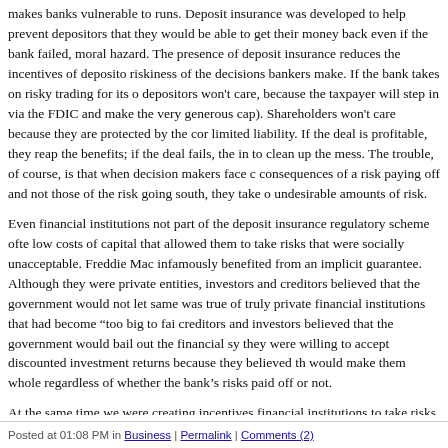makes banks vulnerable to runs. Deposit insurance was developed to help prevent depositors that they would be able to get their money back even if the bank failed, moral hazard. The presence of deposit insurance reduces the incentives of deposito riskiness of the decisions bankers make. If the bank takes on risky trading for its o depositors won't care, because the taxpayer will step in via the FDIC and make the very generous cap). Shareholders won't care because they are protected by the cor limited liability. If the deal is profitable, they reap the benefits; if the deal fails, the in to clean up the mess. The trouble, of course, is that when decision makers face c consequences of a risk paying off and not those of the risk going south, they take o undesirable amounts of risk.
Even financial institutions not part of the deposit insurance regulatory scheme ofte low costs of capital that allowed them to take risks that were socially unacceptable. Freddie Mac infamously benefited from an implicit guarantee. Although they were private entities, investors and creditors believed that the government would not let same was true of truly private financial institutions that had become "too big to fai creditors and investors believed that the government would bail out the financial sy they were willing to accept discounted investment returns because they believed th would make them whole regardless of whether the bank's risks paid off or not.
At the same time we were creating incentives financial institutions to take risks, w compounding the problem creating mechanisms for shareholders to pressure mana Performance-based compensation schemes, increased venues for shareholder activ were all regarded as good practice. But they further encouraged managers to take s undesirable risks.
In sum, the governance/performance story is more complicated than it might seem
Posted at 01:08 PM in Business | Permalink | Comments (2)